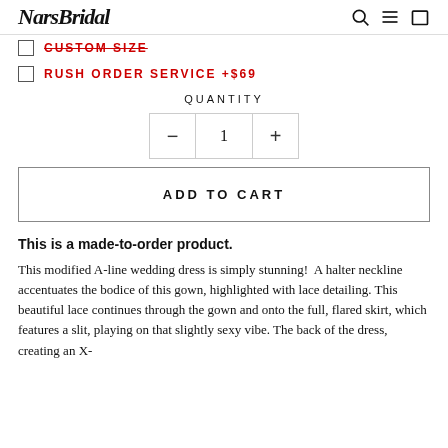NarsBridal
CUSTOM SIZE (strikethrough)
RUSH ORDER SERVICE +$69
QUANTITY
1
ADD TO CART
This is a made-to-order product.
This modified A-line wedding dress is simply stunning!  A halter neckline accentuates the bodice of this gown, highlighted with lace detailing. This beautiful lace continues through the gown and onto the full, flared skirt, which features a slit, playing on that slightly sexy vibe. The back of the dress, creating an X-